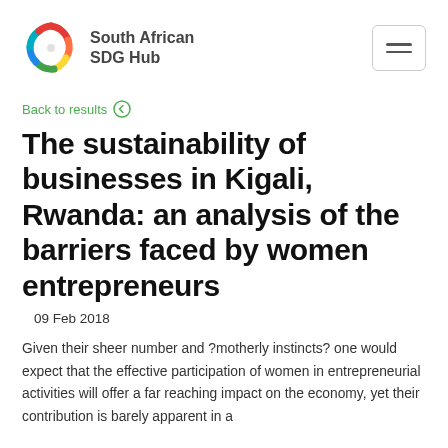South African SDG Hub
Back to results
The sustainability of businesses in Kigali, Rwanda: an analysis of the barriers faced by women entrepreneurs
09 Feb 2018
Given their sheer number and ?motherly instincts? one would expect that the effective participation of women in entrepreneurial activities will offer a far reaching impact on the economy, yet their contribution is barely apparent in a